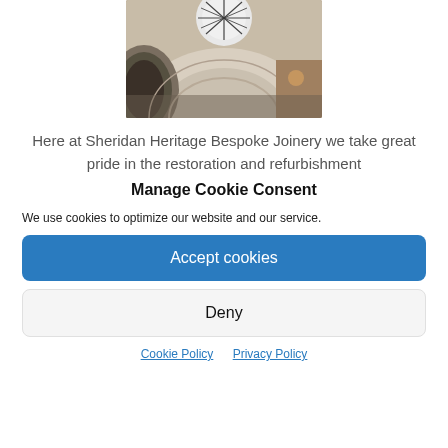[Figure (photo): Interior architectural photo showing ornate domed ceiling with skylight and arched windows.]
Here at Sheridan Heritage Bespoke Joinery we take great pride in the restoration and refurbishment
Manage Cookie Consent
We use cookies to optimize our website and our service.
Accept cookies
Deny
Cookie Policy   Privacy Policy